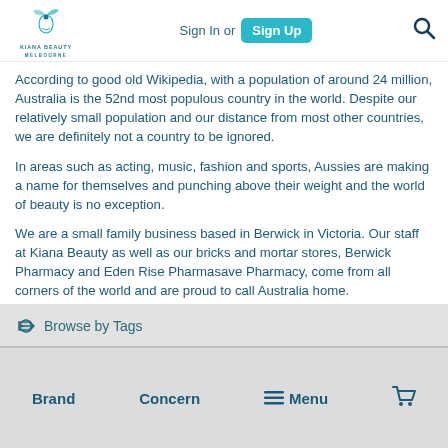Sign In or Sign Up [search]
[Figure (logo): Kiana Beauty Melbourne logo with stylized bird/flower graphic]
According to good old Wikipedia, with a population of around 24 million, Australia is the 52nd most populous country in the world. Despite our relatively small population and our distance from most other countries, we are definitely not a country to be ignored.
In areas such as acting, music, fashion and sports, Aussies are making a name for themselves and punching above their weight and the world of beauty is no exception.
We are a small family business based in Berwick in Victoria. Our staff at Kiana Beauty as well as our bricks and mortar stores, Berwick Pharmacy and Eden Rise Pharmasave Pharmacy, come from all corners of the world and are proud to call Australia home.
This Australia Day, our team here at Kiana Beauty would like to
Browse by Tags
Brand   Concern   Menu   [cart]